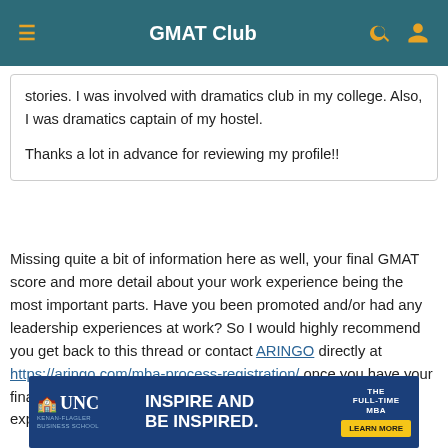GMAT Club
stories. I was involved with dramatics club in my college. Also, I was dramatics captain of my hostel.

Thanks a lot in advance for reviewing my profile!!
Missing quite a bit of information here as well, your final GMAT score and more detail about your work experience being the most important parts. Have you been promoted and/or had any leadership experiences at work? So I would highly recommend you get back to this thread or contact ARINGO directly at https://aringo.com/mba-process-registration/ once you have your final GMAT score, and get into more detail about that work experience at the same time
[Figure (other): UNC Kenan-Flagler Business School advertisement banner: Inspire and Be Inspired. The Full-Time MBA. Learn More button.]